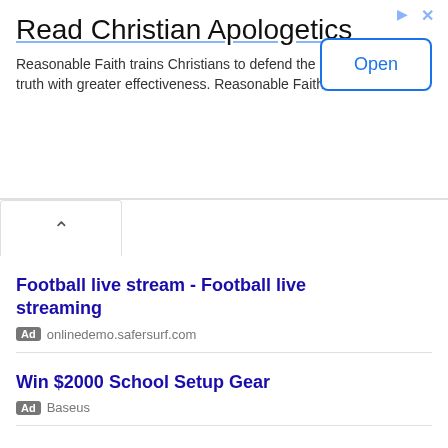Read Christian Apologetics
Reasonable Faith trains Christians to defend the truth with greater effectiveness. Reasonable Faith
[Figure (screenshot): Ad banner with Open button, triangle ad icon, and X close button]
Football live stream - Football live streaming
Ad onlinedemo.safersurf.com
Win $2000 School Setup Gear
Ad Baseus
Credit Cards Cash Back Deals
Ad mysearches.net
100% Real TikTok Promotion
Ad MANAGERGRAM.COM
Public Affairs Masterlo